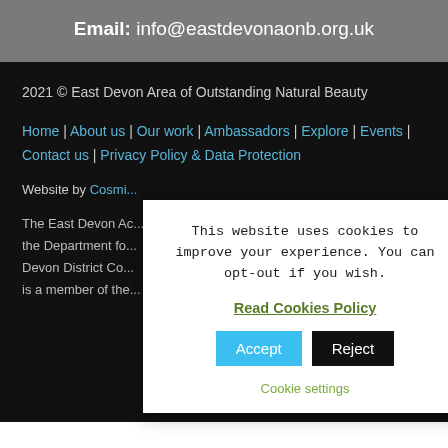Email: info@eastdevonaonb.org.uk
2021 © East Devon Area of Outstanding Natural Beauty
Home | About us | Our work | Ambassadors | Explore | Events | Contact us | Privacy Policy & Data Protection
Website by Cosmi...
The East Devon Ac... the Department fo... Devon District Co... is a member of the...
This website uses cookies to improve your experience. You can opt-out if you wish.
Read Cookies Policy
Accept
Reject
Cookie settings